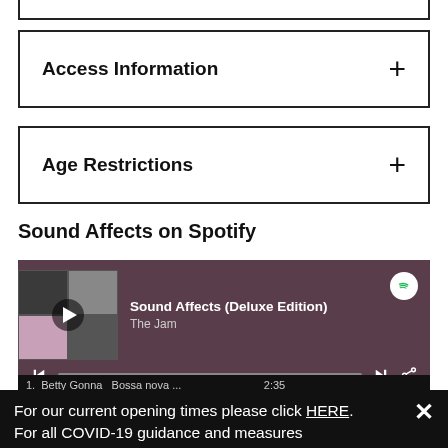Access Information
Age Restrictions
Sound Affects on Spotify
[Figure (screenshot): Spotify embedded player showing 'Sound Affects (Deluxe Edition)' by The Jam with album art, play controls, and progress bar on a dark mauve background]
For our current opening times please click HERE. For all COVID-19 guidance and measures please click HERE.